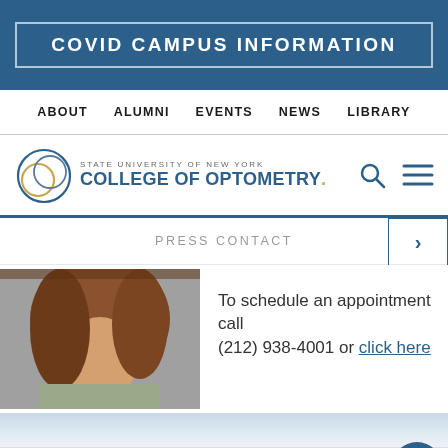COVID CAMPUS INFORMATION
ABOUT   ALUMNI   EVENTS   NEWS   LIBRARY
[Figure (logo): SUNY College of Optometry logo with circular eye graphic and text]
PRESS CONTACT
[Figure (photo): Photo of a person with brown hair, partially cropped]
To schedule an appointment call (212) 938-4001 or click here
Apply   Give   Appointment